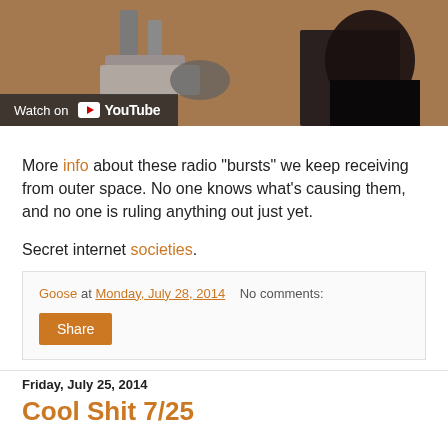[Figure (screenshot): YouTube video thumbnail showing metallic machinery/robot parts with a 'Watch on YouTube' overlay button]
More info about these radio "bursts" we keep receiving from outer space. No one knows what's causing them, and no one is ruling anything out just yet.
Secret internet societies.
Goose at Monday, July 28, 2014   No comments:
Share
Friday, July 25, 2014
Cool Shit 7/25